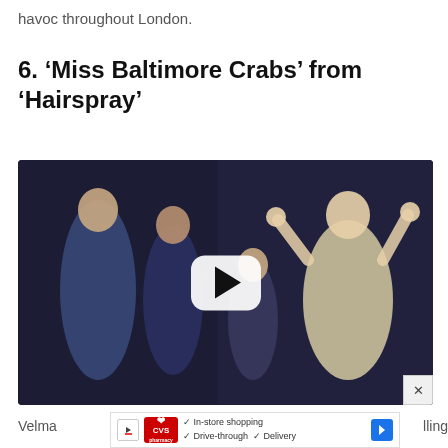havoc throughout London.
6. ‘Miss Baltimore Crabs’ from ‘Hairspray’
[Figure (screenshot): Video thumbnail showing a stage performance with performers in 1960s costumes, a woman in white with arms raised, and a centered white rounded-rectangle play button on a dark stage background.]
[Figure (other): Advertisement bar for CVS Pharmacy showing CVS logo, checkmarks with 'In-store shopping', 'Drive-through', 'Delivery' text, and a blue navigation arrow.]